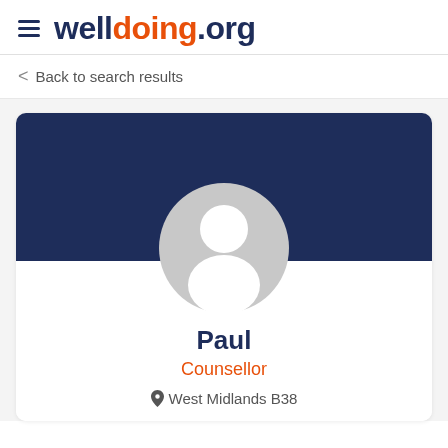welldoing.org
Back to search results
[Figure (illustration): Profile card with dark navy banner background and a grey default avatar placeholder silhouette circle. Below the banner shows name 'Paul', role 'Counsellor', and location 'West Midlands B38'.]
Paul
Counsellor
West Midlands B38